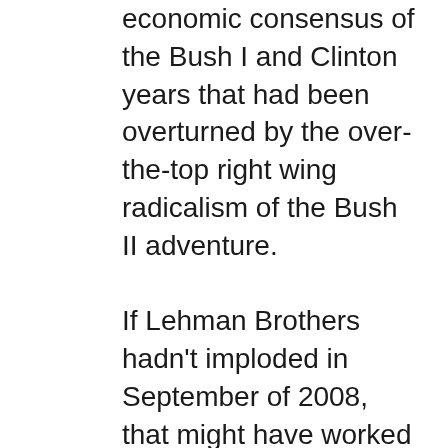economic consensus of the Bush I and Clinton years that had been overturned by the over-the-top right wing radicalism of the Bush II adventure.

If Lehman Brothers hadn't imploded in September of 2008, that might have worked out for Obama. But the subsequent financial crisis startlingly revealed the speculative and debt based Finance Capitalism of the